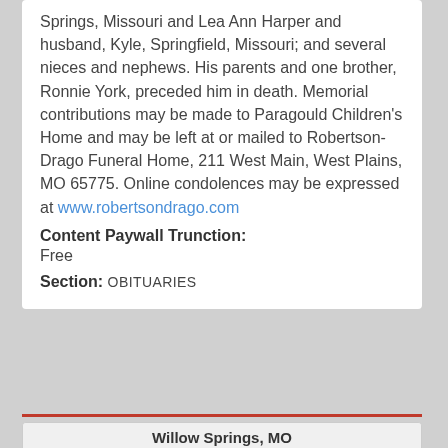Springs, Missouri and Lea Ann Harper and husband, Kyle, Springfield, Missouri; and several nieces and nephews. His parents and one brother, Ronnie York, preceded him in death. Memorial contributions may be made to Paragould Children's Home and may be left at or mailed to Robertson-Drago Funeral Home, 211 West Main, West Plains, MO 65775. Online condolences may be expressed at www.robertsondrago.com
Content Paywall Trunction: Free
Section: OBITUARIES
| Weather | Wind | Rain | Sun |
| --- | --- | --- | --- |